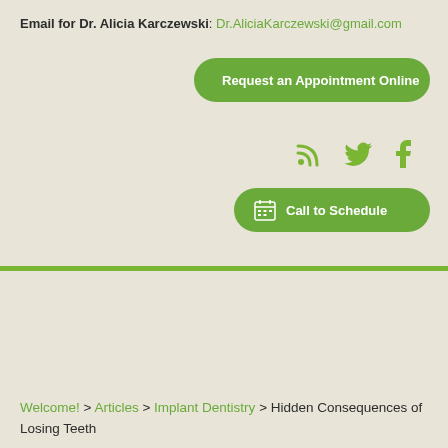Email for Dr. Alicia Karczewski: Dr.AliciaKarczewski@gmail.com
[Figure (other): Green rounded button with calendar icon and text 'Request an Appointment Online']
[Figure (other): Social media icons: RSS feed, Twitter bird, Facebook f — all in olive green]
[Figure (other): Green rounded button with calendar icon and text 'Call to Schedule']
Welcome! > Articles > Implant Dentistry > Hidden Consequences of Losing Teeth